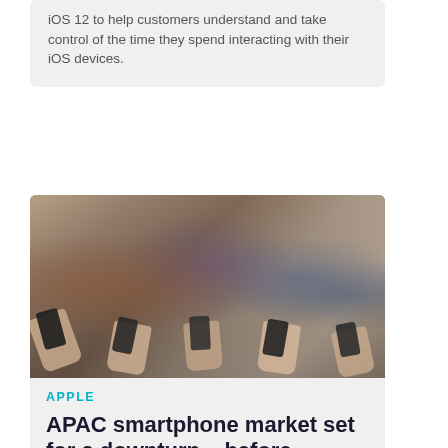iOS 12 to help customers understand and take control of the time they spend interacting with their iOS devices.
[Figure (photo): Group of young people standing together, all looking at and using their smartphones]
APPLE
APAC smartphone market set for a downturn... before bouncing back
The global smartphone market declined in 2017 and IDC expects it to